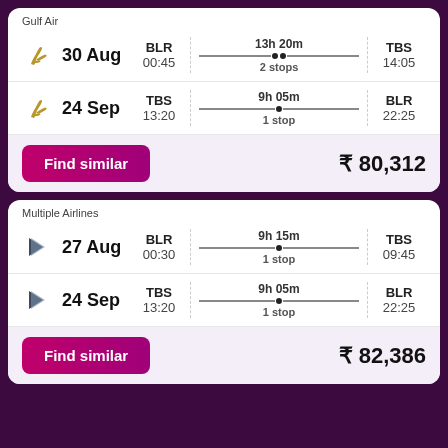Gulf Air
30 Aug | BLR 00:45 | 13h 20m 2 stops | TBS 14:05
24 Sep | TBS 13:20 | 9h 05m 1 stop | BLR 22:25
Find similar | ₹ 80,312
Multiple Airlines
27 Aug | BLR 00:30 | 9h 15m 1 stop | TBS 09:45
24 Sep | TBS 13:20 | 9h 05m 1 stop | BLR 22:25
Find similar | ₹ 82,386